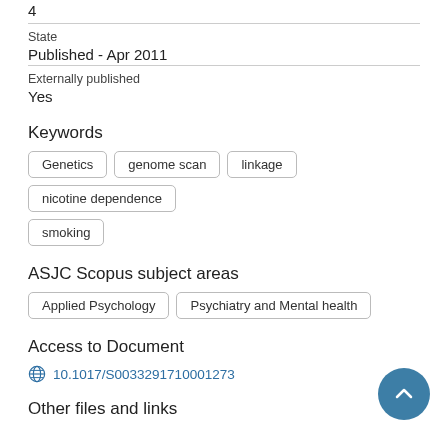4
State
Published - Apr 2011
Externally published
Yes
Keywords
Genetics
genome scan
linkage
nicotine dependence
smoking
ASJC Scopus subject areas
Applied Psychology
Psychiatry and Mental health
Access to Document
10.1017/S0033291710001273
Other files and links